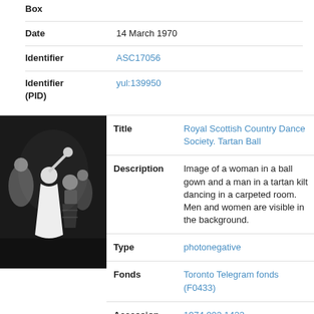| Box |  |
| Date | 14 March 1970 |
| Identifier | ASC17056 |
| Identifier (PID) | yul:139950 |
| Title | Royal Scottish Country Dance Society. Tartan Ball |
| Description | Image of a woman in a ball gown and a man in a tartan kilt dancing in a carpeted room. Men and women are visible in the background. |
| Type | photonegative |
| Fonds | Toronto Telegram fonds (F0433) |
| Accession | 1974.002.1422 |
[Figure (photo): Black and white photograph of people dancing; a woman in a white ball gown and a man in a tartan kilt are in the foreground.]